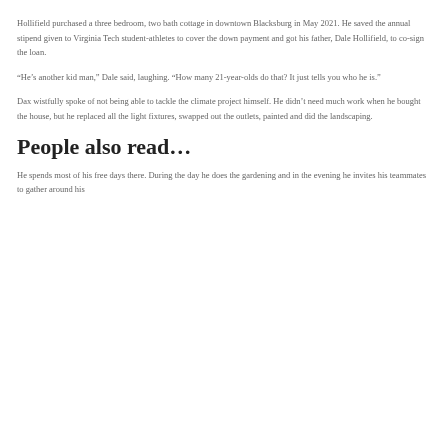Hollifield purchased a three bedroom, two bath cottage in downtown Blacksburg in May 2021. He saved the annual stipend given to Virginia Tech student-athletes to cover the down payment and got his father, Dale Hollifield, to co-sign the loan.
“He’s another kid man,” Dale said, laughing. “How many 21-year-olds do that? It just tells you who he is.”
Dax wistfully spoke of not being able to tackle the climate project himself. He didn’t need much work when he bought the house, but he replaced all the light fixtures, swapped out the outlets, painted and did the landscaping.
People also read…
He spends most of his free days there. During the day he does the gardening and in the evening he invites his teammates to gather around his